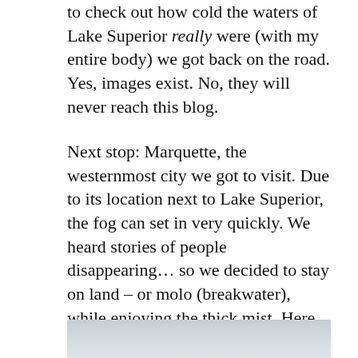to check out how cold the waters of Lake Superior really were (with my entire body) we got back on the road. Yes, images exist. No, they will never reach this blog.
Next stop: Marquette, the westernmost city we got to visit. Due to its location next to Lake Superior, the fog can set in very quickly. We heard stories of people disappearing… so we decided to stay on land – or molo (breakwater), while enjoying the thick mist. Here at Presque Isle Harbor Breakwater Light looking towards Lsi Dock:
[Figure (photo): A misty/foggy harbour scene, likely at Presque Isle Harbor Breakwater Light looking towards Lsi Dock. The image appears grey and hazy, showing water and mist.]